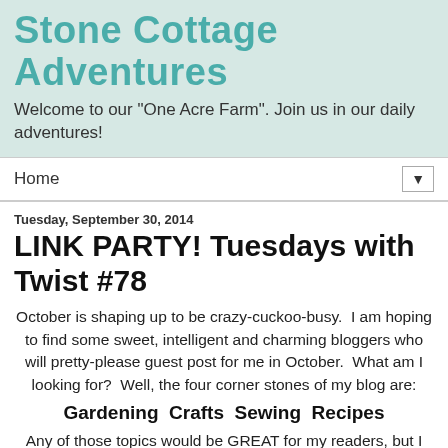Stone Cottage Adventures
Welcome to our "One Acre Farm". Join us in our daily adventures!
Home ▼
Tuesday, September 30, 2014
LINK PARTY! Tuesdays with Twist #78
October is shaping up to be crazy-cuckoo-busy.  I am hoping to find some sweet, intelligent and charming bloggers who will pretty-please guest post for me in October.  What am I looking for?  Well, the four corner stones of my blog are:
Gardening  Crafts  Sewing  Recipes
Any of those topics would be GREAT for my readers, but I am really open to just about anything that is family friendly.  I'd like to receive the post via email in HTML format.  I ask that you publish a little something to let your readers know we are hanging out together on the day you go live here.